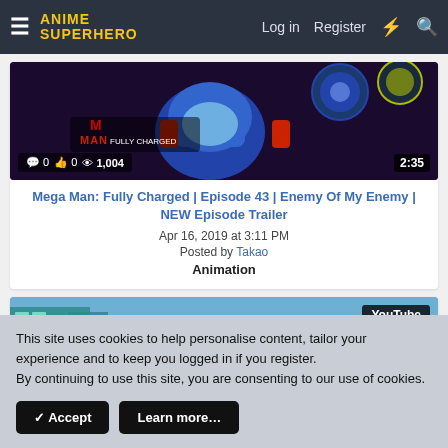Anime Superhero | Log in | Register
[Figure (screenshot): Mega Man: Fully Charged animated show thumbnail with stats overlay showing 0 comments, 0 likes, 1,004 views and duration 2:35]
Mega Man: Fully Charged | Episode 43 | Enemy Of My Enemy | NEW Episode Trailer
Apr 16, 2019 at 3:11 PM
Posted by Takao
Animation
[Figure (screenshot): Mega Man animated character close-up with YouTube badge in top right corner]
This site uses cookies to help personalise content, tailor your experience and to keep you logged in if you register.
By continuing to use this site, you are consenting to our use of cookies.
✓ Accept
Learn more…